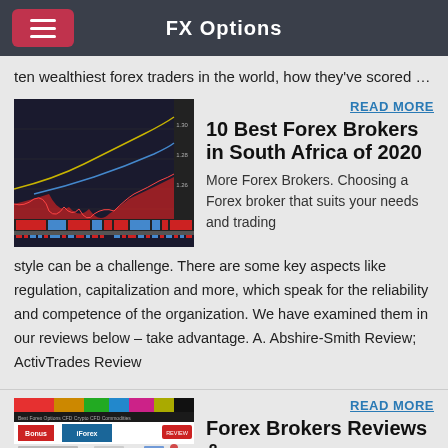FX Options
ten wealthiest forex traders in the world, how they've scored …
READ MORE
10 Best Forex Brokers in South Africa of 2020
More Forex Brokers. Choosing a Forex broker that suits your needs and trading style can be a challenge. There are some key aspects like regulation, capitalization and more, which speak for the reliability and competence of the organization. We have examined them in our reviews below – take advantage. A. Abshire-Smith Review; ActivTrades Review
[Figure (screenshot): Forex trading chart screenshot showing candlestick/line chart with red and blue indicators]
READ MORE
Forex Brokers Reviews &
[Figure (screenshot): Screenshot of a forex broker website with colorful navigation bar and platform interface]